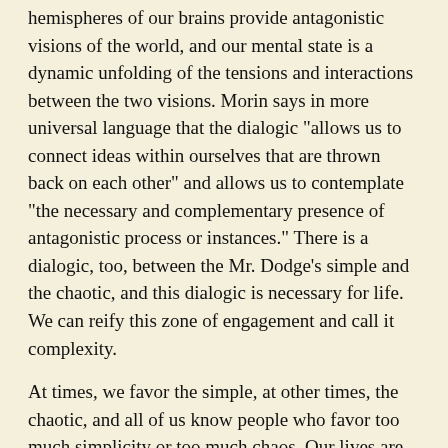hemispheres of our brains provide antagonistic visions of the world, and our mental state is a dynamic unfolding of the tensions and interactions between the two visions. Morin says in more universal language that the dialogic "allows us to connect ideas within ourselves that are thrown back on each other" and allows us to contemplate "the necessary and complementary presence of antagonistic process or instances." There is a dialogic, too, between the Mr. Dodge's simple and the chaotic, and this dialogic is necessary for life. We can reify this zone of engagement and call it complexity.
At times, we favor the simple, at other times, the chaotic, and all of us know people who favor too much simplicity or too much chaos. Our lives are an unfolding of the tensions and interactions between the simple and the chaotic, and it may seem that this complex zone is the right place to be, but that isn't quite right. It is not a place to be; rather, it is a place of becoming that exists only as a dialog, or a dance, between the simple and the chaotic. I am not talking about a balance here, but a suspension—a not altogether happy suspension. We must be diligent and vigilant to maintain this dialog, and most of us do not have that kind of sustained